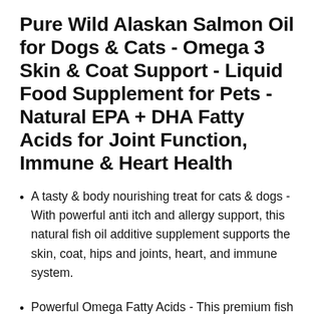Pure Wild Alaskan Salmon Oil for Dogs & Cats - Omega 3 Skin & Coat Support - Liquid Food Supplement for Pets - Natural EPA + DHA Fatty Acids for Joint Function, Immune & Heart Health
A tasty & body nourishing treat for cats & dogs - With powerful anti itch and allergy support, this natural fish oil additive supplement supports the skin, coat, hips and joints, heart, and immune system.
Powerful Omega Fatty Acids - This premium fish oil liquid formula is loaded with the healthy Omega-3 fatty